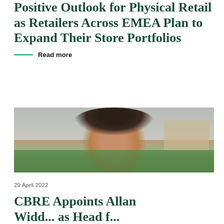Positive Outlook for Physical Retail as Retailers Across EMEA Plan to Expand Their Store Portfolios
Read more
[Figure (photo): Close-up photograph of a man's face from forehead up, with blurred background showing buildings and green foliage]
29 April 2022
CBRE Appoints Allan Wid... as Head f...